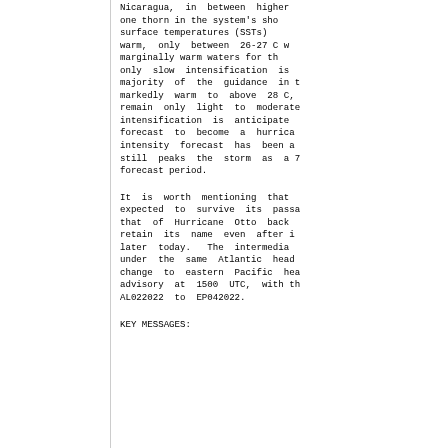Nicaragua, in between higher one thorn in the system's sho surface temperatures (SSTs) warm, only between 26-27 C w marginally warm waters for th only slow intensification is majority of the guidance in t markedly warm to above 28 C, remain only light to moderate intensification is anticipate forecast to become a hurrica intensity forecast has been a still peaks the storm as a 7 forecast period.
It is worth mentioning that expected to survive its passa that of Hurricane Otto back retain its name even after i later today. The intermedia under the same Atlantic head change to eastern Pacific he advisory at 1500 UTC, with t AL022022 to EP042022.
KEY MESSAGES: